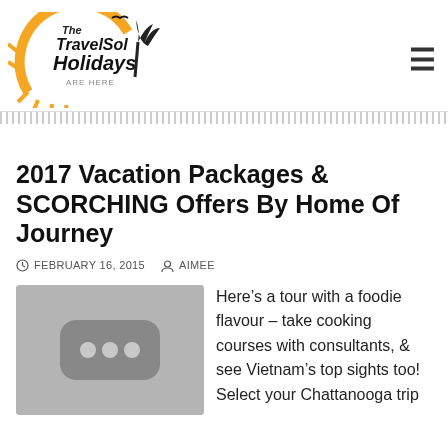The TravelSol Holidays ARE HERE
2017 Vacation Packages & SCORCHING Offers By Home Of Journey
FEBRUARY 16, 2015   AIMEE
[Figure (photo): Gray placeholder image with a dark rounded rectangle containing three white dots in the center]
Here's a tour with a foodie flavour – take cooking courses with consultants, & see Vietnam's top sights too! Select your Chattanooga trip